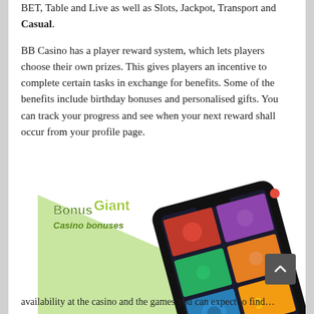BET, Table and Live as well as Slots, Jackpot, Transport and Casual.
BB Casino has a player reward system, which lets players choose their own prizes. This gives players an incentive to complete certain tasks in exchange for benefits. Some of the benefits include birthday bonuses and personalised gifts. You can track your progress and see when your next reward shall occur from your profile page.
[Figure (illustration): BonusGiant Casino bonuses logo with a smartphone showing a casino app grid of games, displayed on a light green triangular background.]
...